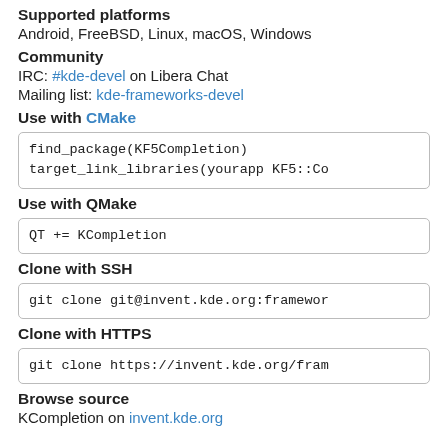Supported platforms
Android, FreeBSD, Linux, macOS, Windows
Community
IRC: #kde-devel on Libera Chat
Mailing list: kde-frameworks-devel
Use with CMake
find_package(KF5Completion)
target_link_libraries(yourapp KF5::Co
Use with QMake
QT += KCompletion
Clone with SSH
git clone git@invent.kde.org:framewor
Clone with HTTPS
git clone https://invent.kde.org/fram
Browse source
KCompletion on invent.kde.org